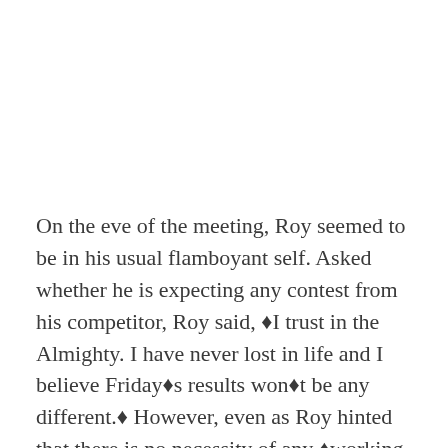On the eve of the meeting, Roy seemed to be in his usual flamboyant self. Asked whether he is expecting any contest from his competitor, Roy said, ÿI trust in the Almighty. I have never lost in life and I believe Fridayÿs results wonÿt be any different.ÿ However, even as Roy hinted that there is no necessity of any ÿworking presidentÿ in the association, talks on the post is doing the rounds.